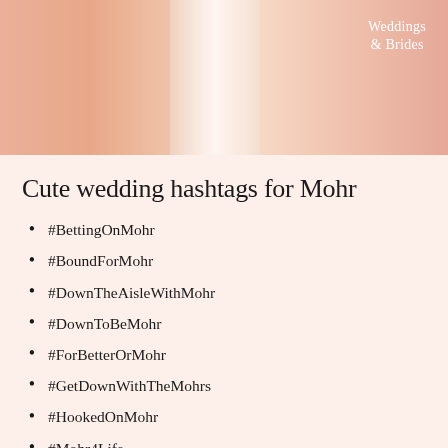[Figure (photo): Photo of wedding dresses in peach and white tones hanging together, with a 'Weddings & Brides' logo overlay in the top right corner.]
Cute wedding hashtags for Mohr
#BettingOnMohr
#BoundForMohr
#DownTheAisleWithMohr
#DownToBeMohr
#ForBetterOrMohr
#GetDownWithTheMohrs
#HookedOnMohr
#Mohr4Life
#MohrAndBeyond
#MohrAndWife